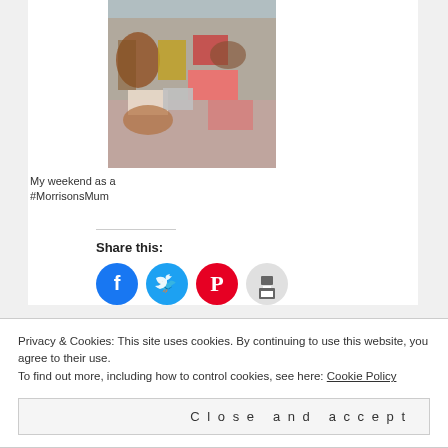[Figure (photo): Photo of grocery/food items spread out on a floral tablecloth, viewed from above]
My weekend as a #MorrisonsMum
[Figure (infographic): Share this: row of social media icon buttons: Facebook (blue), Twitter (blue), Pinterest (red), Print (grey)]
Privacy & Cookies: This site uses cookies. By continuing to use this website, you agree to their use.
To find out more, including how to control cookies, see here: Cookie Policy
Close and accept